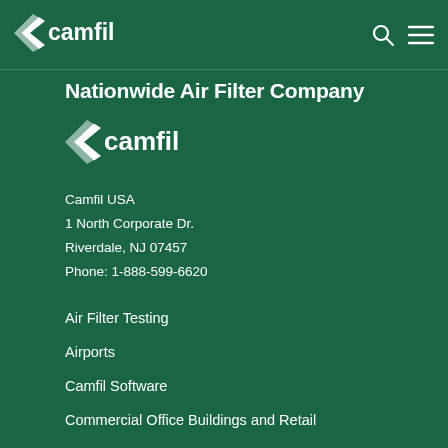camfil
Nationwide Air Filter Company
[Figure (logo): Camfil logo with wing icon and 'camfil' text in white on dark green background]
Camfil USA
1 North Corporate Dr.
Riverdale, NJ 07457
Phone: 1-888-599-6620
Air Filter Testing
Airports
Camfil Software
Commercial Office Buildings and Retail